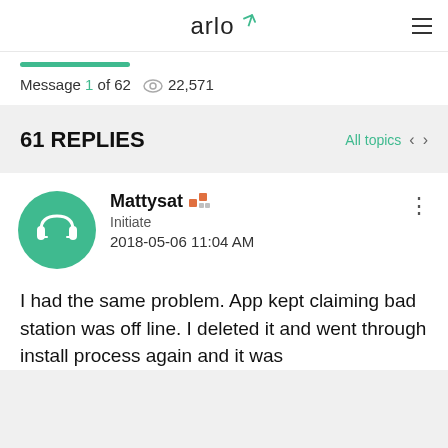arlo
Message 1 of 62  👁 22,571
61 REPLIES
All topics
Mattysat
Initiate
2018-05-06 11:04 AM
I had the same problem. App kept claiming bad station was off line. I deleted it and went through install process again and it was